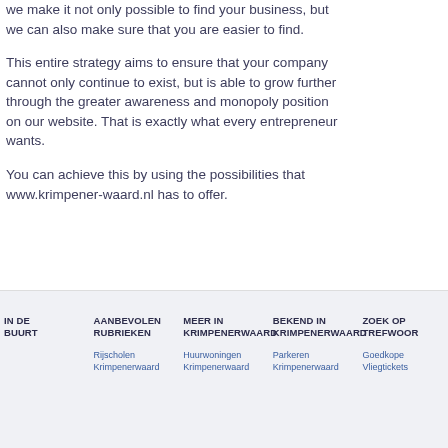we make it not only possible to find your business, but we can also make sure that you are easier to find.
This entire strategy aims to ensure that your company cannot only continue to exist, but is able to grow further through the greater awareness and monopoly position on our website. That is exactly what every entrepreneur wants.
You can achieve this by using the possibilities that www.krimpener-waard.nl has to offer.
IN DE BUURT | AANBEVOLEN RUBRIEKEN | MEER IN KRIMPENERWAARDBEKEND IN KRIMPENERWAARD | ZOEK OP TREFWOORD
Rijscholen Krimpenerwaard | Huurwoningen Krimpenerwaard | Parkeren Krimpenerwaard | Goedkope Vliegtickets